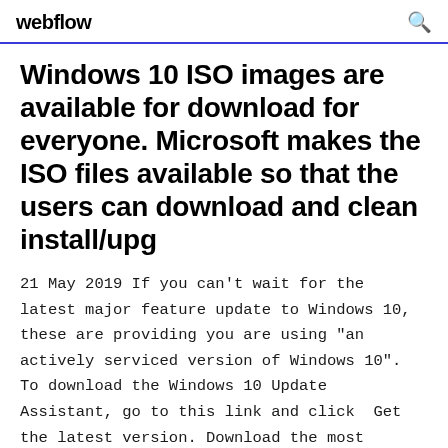webflow
Windows 10 ISO images are available for download for everyone. Microsoft makes the ISO files available so that the users can download and clean install/upg
21 May 2019 If you can't wait for the latest major feature update to Windows 10, these are providing you are using "an actively serviced version of Windows 10". To download the Windows 10 Update Assistant, go to this link and click  Get the latest version. Download the most recent version of Adobe Flash Player.